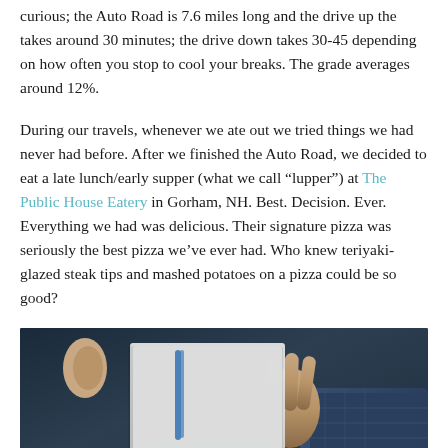curious; the Auto Road is 7.6 miles long and the drive up the takes around 30 minutes; the drive down takes 30-45 depending on how often you stop to cool your breaks. The grade averages around 12%.
During our travels, whenever we ate out we tried things we had never had before. After we finished the Auto Road, we decided to eat a late lunch/early supper (what we call “lupper”) at The Public House Eatery in Gorham, NH. Best. Decision. Ever. Everything we had was delicious. Their signature pizza was seriously the best pizza we’ve ever had. Who knew teriyaki-glazed steak tips and mashed potatoes on a pizza could be so good?
[Figure (photo): A close-up photo showing hands holding what appears to be a menu or paper item against a dark blue background, likely inside a restaurant.]